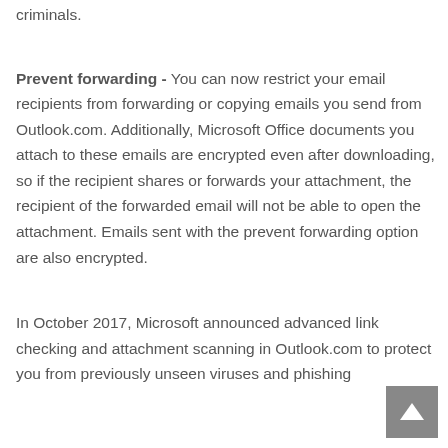criminals.
Prevent forwarding - You can now restrict your email recipients from forwarding or copying emails you send from Outlook.com. Additionally, Microsoft Office documents you attach to these emails are encrypted even after downloading, so if the recipient shares or forwards your attachment, the recipient of the forwarded email will not be able to open the attachment. Emails sent with the prevent forwarding option are also encrypted.
In October 2017, Microsoft announced advanced link checking and attachment scanning in Outlook.com to protect you from previously unseen viruses and phishing